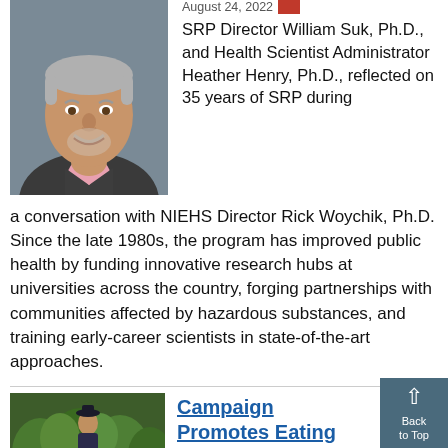[Figure (photo): Headshot photo of an older man with gray hair, wearing a dark gray sweater over a pink collared shirt, smiling, against a gray background.]
August 24, 2022
SRP Director William Suk, Ph.D., and Health Scientist Administrator Heather Henry, Ph.D., reflected on 35 years of SRP during a conversation with NIEHS Director Rick Woychik, Ph.D. Since the late 1980s, the program has improved public health by funding innovative research hubs at universities across the country, forging partnerships with communities affected by hazardous substances, and training early-career scientists in state-of-the-art approaches.
[Figure (photo): Photo of a person outdoors near trees and greenery.]
Campaign Promotes Eating